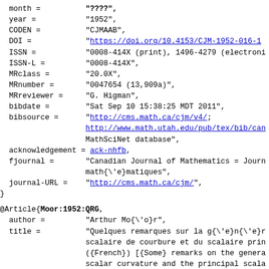month =          "????",
  year =            "1952",
  CODEN =           "CJMAAB",
  DOI =             "https://doi.org/10.4153/CJM-1952-016-1"
  ISSN =            "0008-414X (print), 1496-4279 (electroni
  ISSN-L =          "0008-414X",
  MRclass =         "20.0X",
  MRnumber =        "0047654 (13,909a)",
  MRreviewer =      "G. Higman",
  bibdate =         "Sat Sep 10 15:38:25 MDT 2011",
  bibsource =       "http://cms.math.ca/cjm/v4/;
                    http://www.math.utah.edu/pub/tex/bib/car
                    MathSciNet database",
  acknowledgement = ack-nhfb,
  fjournal =        "Canadian Journal of Mathematics = Journ
                    math{\'e}matiques",
  journal-URL =     "http://cms.math.ca/cjm/",
}
@Article{Moor:1952:QRG,
  author =          "Arthur Mo{\'o}r",
  title =           "Quelques remarques sur la g{\'e}n{\'e}r
                    scalaire de courbure et du scalaire prin
                    ({French}) [{Some} remarks on the genera
                    scalar curvature and the principal scala
  journal =         j-CAN-J-MATH,
  volume =          "4",
  number =          "??",
  pages =           "189--197",
  month =           "????",